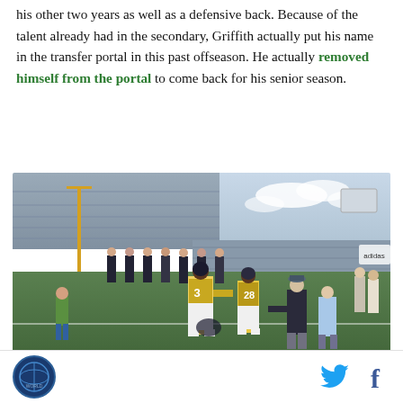his other two years as well as a defensive back. Because of the talent already had in the secondary, Griffith actually put his name in the transfer portal in this past offseason. He actually removed himself from the portal to come back for his senior season.
[Figure (photo): Football players in Notre Dame uniforms (numbers 3 and 28) on the sideline at a stadium, interacting with young fans/children. Police officers line the background. Stadium seating visible.]
Logo | Twitter icon | Facebook icon